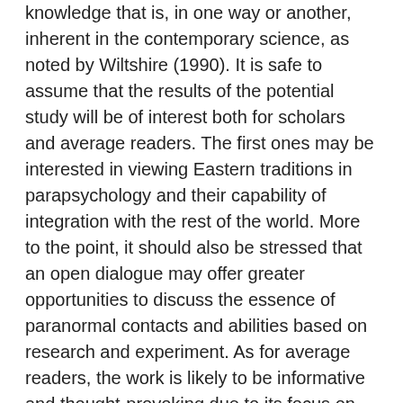knowledge that is, in one way or another, inherent in the contemporary science, as noted by Wiltshire (1990). It is safe to assume that the results of the potential study will be of interest both for scholars and average readers. The first ones may be interested in viewing Eastern traditions in parapsychology and their capability of integration with the rest of the world. More to the point, it should also be stressed that an open dialogue may offer greater opportunities to discuss the essence of paranormal contacts and abilities based on research and experiment. As for average readers, the work is likely to be informative and thought-provoking due to its focus on rather controversial yet elaborated phenomenon.
To sum it up, the paramount idea of this study is to critically analyze and evaluate Buddhists parapsychology and provide arguments that would prove that psi and paranormal phenomena take place and justify it. While some mainstream scientists reject